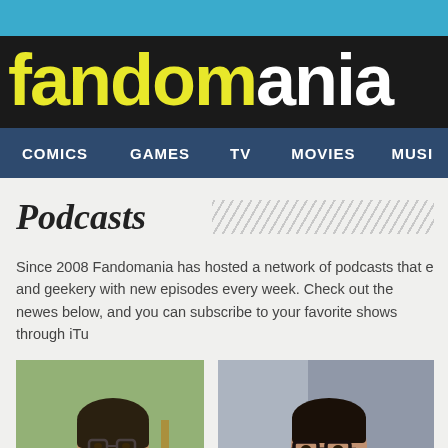fandomania
COMICS  GAMES  TV  MOVIES  MUSI
Podcasts
Since 2008 Fandomania has hosted a network of podcasts that e and geekery with new episodes every week. Check out the newes below, and you can subscribe to your favorite shows through iTu
[Figure (photo): Man with beard and glasses holding a guitar, standing in front of bookshelves]
[Figure (photo): Man with glasses looking upward, against a gray background]